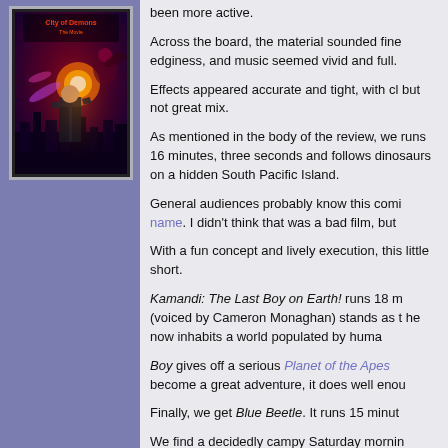[Figure (illustration): Movie poster for 'City of Demons: The Movie' showing a man in a trench coat holding a glowing orb with demonic figures in the background against a dark red and purple cityscape]
been more active.
Across the board, the material sounded fine edginess, and music seemed vivid and full.
Effects appeared accurate and tight, with cl but not great mix.
As mentioned in the body of the review, we runs 16 minutes, three seconds and follows dinosaurs on a hidden South Pacific Island.
General audiences probably know this comi name. I didn't think that was a bad film, but
With a fun concept and lively execution, this little short.
Kamandi: The Last Boy on Earth! runs 18 m (voiced by Cameron Monaghan) stands as t he now inhabits a world populated by huma
Boy gives off a serious Planet of the Apes become a great adventure, it does well enou
Finally, we get Blue Beetle. It runs 15 minut
We find a decidedly campy Saturday mornin voice acting and even some "print flaws". It entertains.